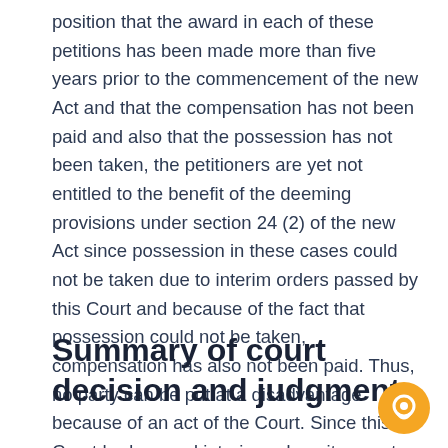position that the award in each of these petitions has been made more than five years prior to the commencement of the new Act and that the compensation has not been paid and also that the possession has not been taken, the petitioners are yet not entitled to the benefit of the deeming provisions under section 24 (2) of the new Act since possession in these cases could not be taken due to interim orders passed by this Court and because of the fact that possession could not be taken, compensation has also not been paid. Thus, no party can be put at a disadvantage because of an act of the Court. Since this Court had passed interim orders, it cannot work to the disadvantage of the respondents.
Summary of court decision and judgment